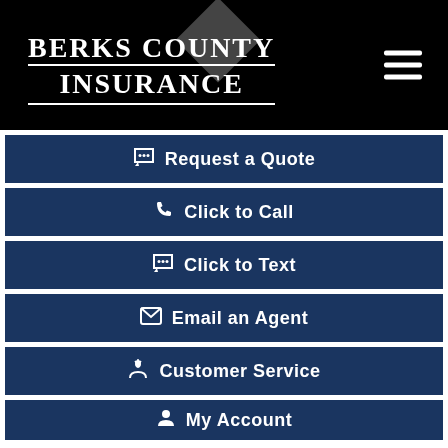[Figure (logo): Berks County Insurance logo on black header with diamond shape and hamburger menu icon]
Request a Quote
Click to Call
Click to Text
Email an Agent
Customer Service
My Account